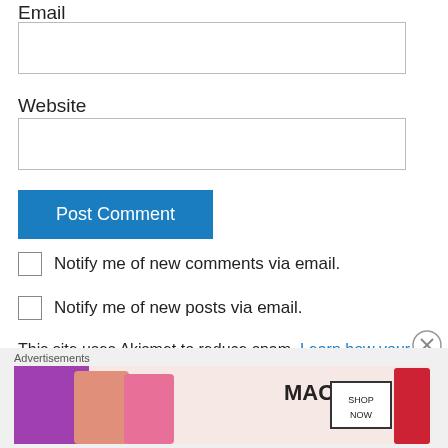Email
(email input box)
Website
(website input box)
Post Comment
Notify me of new comments via email.
Notify me of new posts via email.
This site uses Akismet to reduce spam. Learn how your comment data is processed.
Advertisements
[Figure (photo): MAC cosmetics advertisement showing lipsticks with SHOP NOW button]